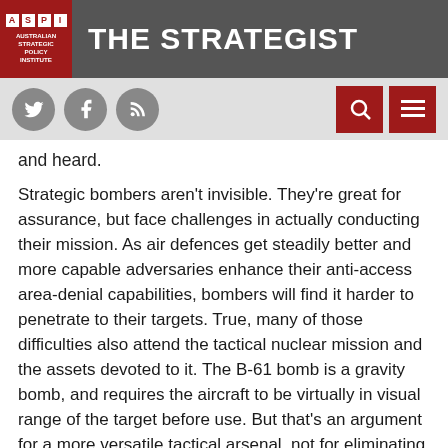THE STRATEGIST
and heard.
Strategic bombers aren't invisible. They're great for assurance, but face challenges in actually conducting their mission. As air defences get steadily better and more capable adversaries enhance their anti-access area-denial capabilities, bombers will find it harder to penetrate to their targets. True, many of those difficulties also attend the tactical nuclear mission and the assets devoted to it. The B-61 bomb is a gravity bomb, and requires the aircraft to be virtually in visual range of the target before use. But that's an argument for a more versatile tactical arsenal, not for eliminating the current one.
The shape of an arsenal is important, even if it's not the sole determinant of an effective nuclear strategy. And a tactical nuclear arsenal has one big, important political message for